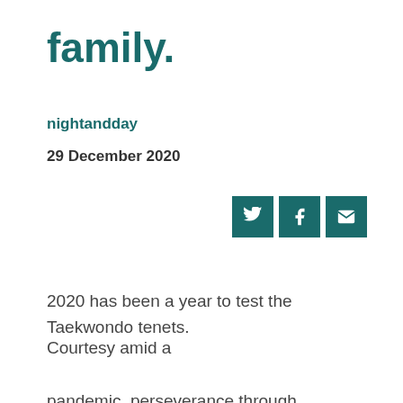family.
nightandday
29 December 2020
[Figure (infographic): Three social sharing icon buttons (Twitter bird, Facebook f, Email envelope) in teal/dark cyan square buttons]
2020 has been a year to test the Taekwondo tenets.
Courtesy amid a pandemic, perseverance through bushfires and drought, self-control and integrity as we